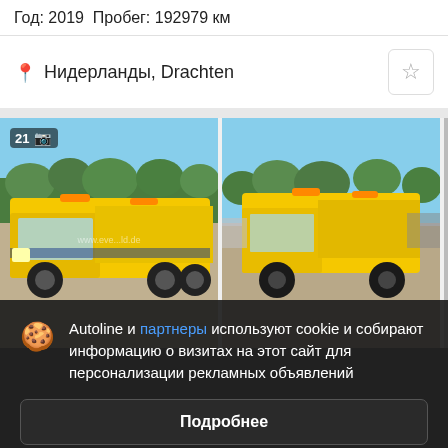Год: 2019  Пробег: 192979 км
Нидерланды, Drachten
[Figure (photo): Yellow tow trucks / flatbed recovery vehicles parked outdoors, two visible in photo strip with watermark www.eve...ld.de, badge showing 21 photos]
Autoline и партнеры используют cookie и собирают информацию о визитах на этот сайт для персонализации рекламных объявлений
Подробнее
Согласиться и закрыть